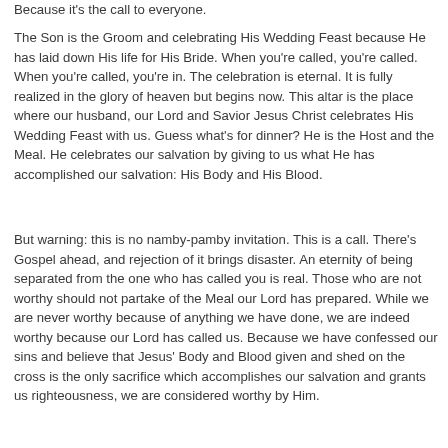Because it's the call to everyone.
The Son is the Groom and celebrating His Wedding Feast because He has laid down His life for His Bride. When you're called, you're called. When you're called, you're in. The celebration is eternal. It is fully realized in the glory of heaven but begins now. This altar is the place where our husband, our Lord and Savior Jesus Christ celebrates His Wedding Feast with us. Guess what's for dinner? He is the Host and the Meal. He celebrates our salvation by giving to us what He has accomplished our salvation: His Body and His Blood.
But warning: this is no namby-pamby invitation. This is a call. There's Gospel ahead, and rejection of it brings disaster. An eternity of being separated from the one who has called you is real. Those who are not worthy should not partake of the Meal our Lord has prepared. While we are never worthy because of anything we have done, we are indeed worthy because our Lord has called us. Because we have confessed our sins and believe that Jesus' Body and Blood given and shed on the cross is the only sacrifice which accomplishes our salvation and grants us righteousness, we are considered worthy by Him.